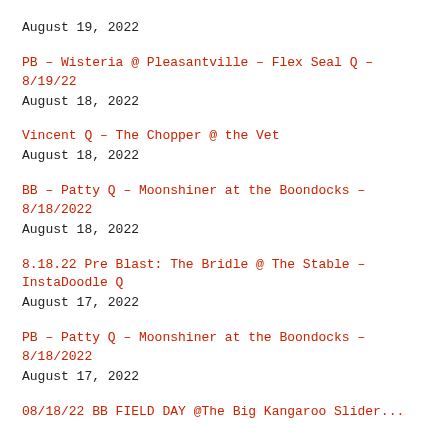August 19, 2022
PB – Wisteria @ Pleasantville – Flex Seal Q – 8/19/22
August 18, 2022
Vincent Q – The Chopper @ the Vet
August 18, 2022
BB – Patty Q – Moonshiner at the Boondocks – 8/18/2022
August 18, 2022
8.18.22 Pre Blast: The Bridle @ The Stable – InstaDoodle Q
August 17, 2022
PB – Patty Q – Moonshiner at the Boondocks – 8/18/2022
August 17, 2022
08/18/22 BB FIELD DAY @The Big Kangaroo Slider...